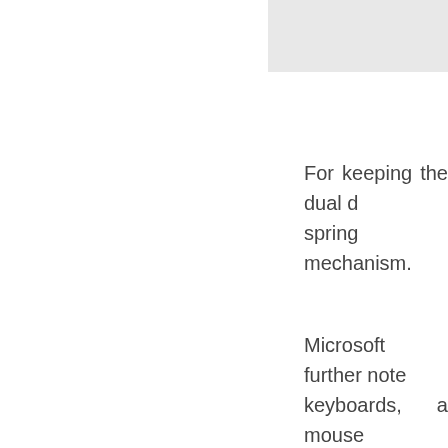[Figure (other): Gray rectangle in upper right corner]
For keeping the dual d spring mechanism.
Microsoft further note keyboards, a mouse Microsoft's face side depth camera for mac
Now we can unders camera on the face s and iPhones.